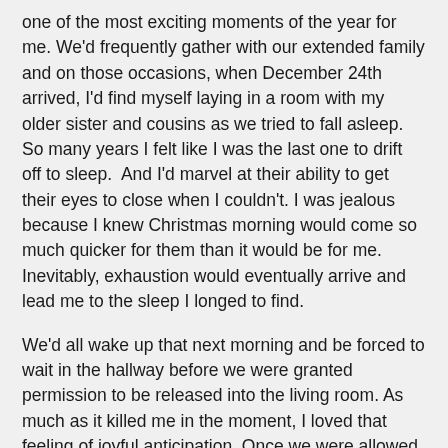one of the most exciting moments of the year for me. We'd frequently gather with our extended family and on those occasions, when December 24th arrived, I'd find myself laying in a room with my older sister and cousins as we tried to fall asleep. So many years I felt like I was the last one to drift off to sleep.  And I'd marvel at their ability to get their eyes to close when I couldn't. I was jealous because I knew Christmas morning would come so much quicker for them than it would be for me. Inevitably, exhaustion would eventually arrive and lead me to the sleep I longed to find.
We'd all wake up that next morning and be forced to wait in the hallway before we were granted permission to be released into the living room. As much as it killed me in the moment, I loved that feeling of joyful anticipation. Once we were allowed into the living room each of us would naturally land